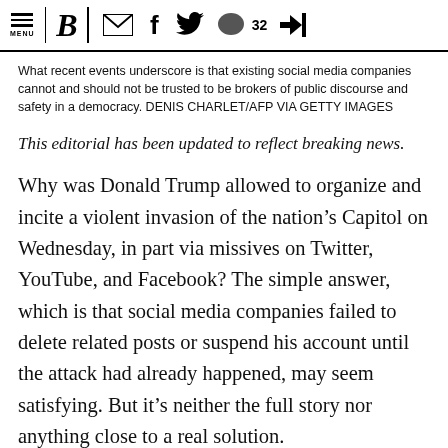MENU | B | [envelope] | f | [twitter] | [comment] 32 | [login]
What recent events underscore is that existing social media companies cannot and should not be trusted to be brokers of public discourse and safety in a democracy. DENIS CHARLET/AFP VIA GETTY IMAGES
This editorial has been updated to reflect breaking news.
Why was Donald Trump allowed to organize and incite a violent invasion of the nation’s Capitol on Wednesday, in part via missives on Twitter, YouTube, and Facebook? The simple answer, which is that social media companies failed to delete related posts or suspend his account until the attack had already happened, may seem satisfying. But it’s neither the full story nor anything close to a real solution.